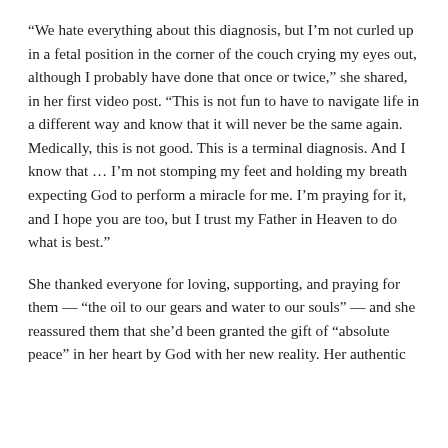“We hate everything about this diagnosis, but I’m not curled up in a fetal position in the corner of the couch crying my eyes out, although I probably have done that once or twice,” she shared, in her first video post. “This is not fun to have to navigate life in a different way and know that it will never be the same again. Medically, this is not good. This is a terminal diagnosis. And I know that … I’m not stomping my feet and holding my breath expecting God to perform a miracle for me. I’m praying for it, and I hope you are too, but I trust my Father in Heaven to do what is best.”
She thanked everyone for loving, supporting, and praying for them — “the oil to our gears and water to our souls” — and she reassured them that she’d been granted the gift of “absolute peace” in her heart by God with her new reality. Her authentic